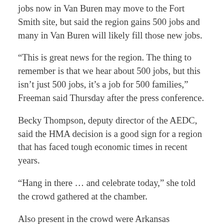jobs now in Van Buren may move to the Fort Smith site, but said the region gains 500 jobs and many in Van Buren will likely fill those new jobs.
“This is great news for the region. The thing to remember is that we hear about 500 jobs, but this isn’t just 500 jobs, it’s a job for 500 families,” Freeman said Thursday after the press conference.
Becky Thompson, deputy director of the AEDC, said the HMA decision is a good sign for a region that has faced tough economic times in recent years.
“Hang in there … and celebrate today,” she told the crowd gathered at the chamber.
Also present in the crowd were Arkansas Economic Development Commissioners Chester Koprovic and Lee Webb.